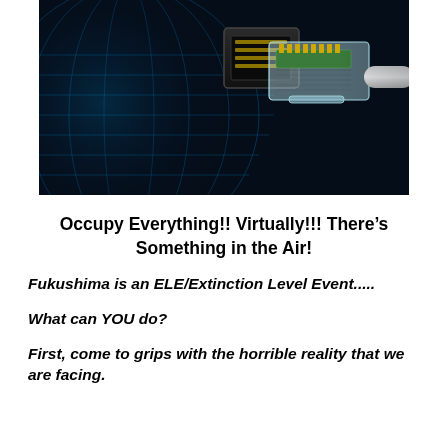[Figure (photo): Close-up photo of an Ethernet RJ-45 connector being plugged into a port, set against a glowing blue digital globe/grid background on a dark background.]
Occupy Everything!! Virtually!!! There’s Something in the Air!
Fukushima is an ELE/Extinction Level Event.....
What can YOU do?
First, come to grips with the horrible reality that we are facing.